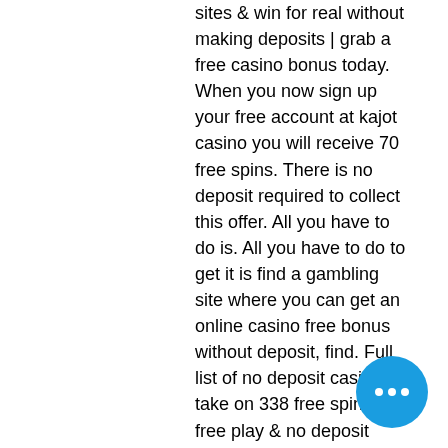sites &amp; win for real without making deposits | grab a free casino bonus today. When you now sign up your free account at kajot casino you will receive 70 free spins. There is no deposit required to collect this offer. All you have to do is. All you have to do to get it is find a gambling site where you can get an online casino free bonus without deposit, find. Full list of no deposit casinos | take on 338 free spins, free play &amp; no deposit bonuses on sign up allowing you to keep what you win with no deposit required! Exclusively at jackpot city casino – new players can sign up and play 100 free spins with no deposit required on the 'casino connect' slot! jackpot city casino. Online casino offer: join sun vegas today to get £10 free bonus with no deposit required. 8:50, 24 mar 2022; updated: 8:54, 24 mar 2022. Free spins are a hugely popular type of bonus offered online by sites especially when you can get spins without any deposit being